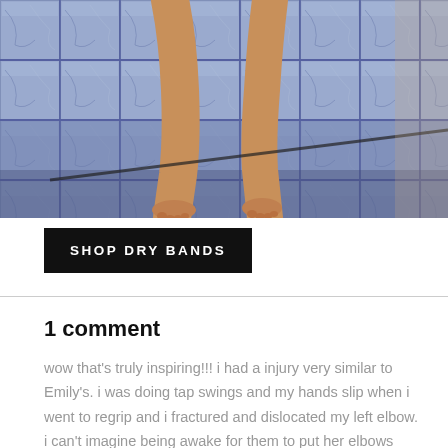[Figure (photo): Cropped photo showing a person's legs standing on blue/grey tiled pool deck surface]
SHOP DRY BANDS
1 comment
wow that's truly inspiring!!! i had a injury very similar to Emily's. i was doing tap swings and my hands slip when i went to regrip and i fractured and dislocated my left elbow. i can't imagine being awake for them to put her elbows back in place, luckily they put me to sleep. the doctor told me i wasn't cleared for